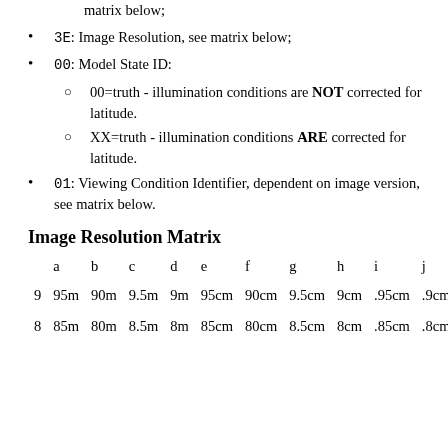matrix below;
3E: Image Resolution, see matrix below;
00: Model State ID:
00=truth - illumination conditions are NOT corrected for latitude.
XX=truth - illumination conditions ARE corrected for latitude.
01: Viewing Condition Identifier, dependent on image version, see matrix below.
Image Resolution Matrix
|  | a | b | c | d | e | f | g | h | i | j |
| --- | --- | --- | --- | --- | --- | --- | --- | --- | --- | --- |
| 9 | 95m | 90m | 9.5m | 9m | 95cm | 90cm | 9.5cm | 9cm | .95cm | .9cm |
| 8 | 85m | 80m | 8.5m | 8m | 85cm | 80cm | 8.5cm | 8cm | .85cm | .8cm |